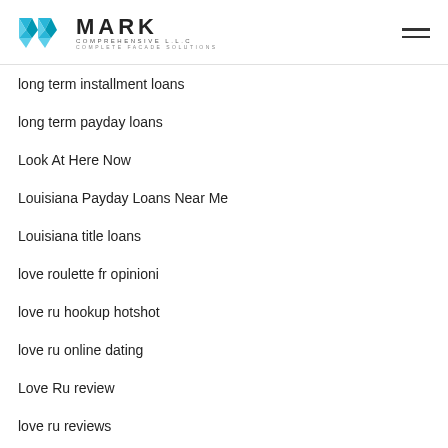MARK COMPREHENSIVE LLC - COMPLETE FACADE SOLUTIONS
long term installment loans
long term payday loans
Look At Here Now
Louisiana Payday Loans Near Me
Louisiana title loans
love roulette fr opinioni
love ru hookup hotshot
love ru online dating
Love Ru review
love ru reviews